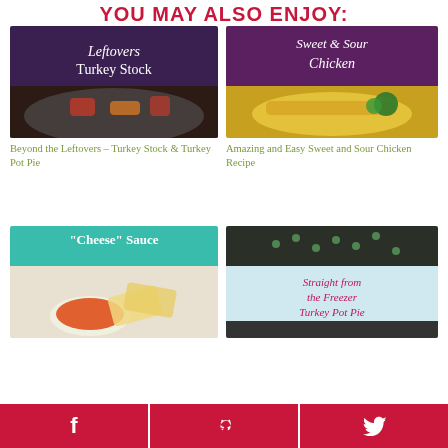YOU MAY ALSO ENJOY:
[Figure (photo): Food blog card image: Leftovers Turkey Stock with text overlay on purple background, showing a pot of turkey stock with vegetables]
Beyond the Leftovers – Turkey Stock & Turkey Pot Pie
[Figure (photo): Food blog card image: Sweet & Sour Chicken with text overlay on purple background, showing a plate of chicken with vegetables]
Amazing and Easy Sweet and Sour Chicken Recipe
[Figure (photo): Food blog card image: Cheese Sauce with teal text overlay on light background, showing a bowl of orange cheese sauce with chips]
[Figure (photo): Food blog card image: Straight from the Freezer Turkey Pot Pie with magenta text on light blue background, showing a pie]
f  p  Twitter bird icon